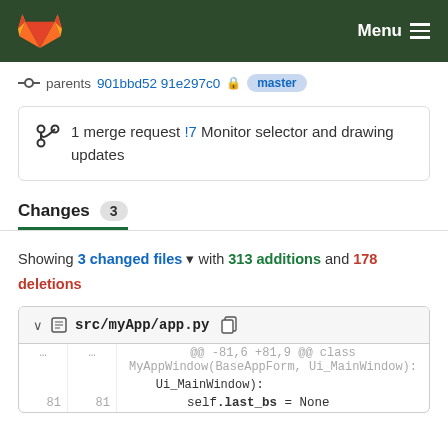GitLab — Menu
parents 901bbd52 91e297c0  master
1 merge request !7 Monitor selector and drawing updates
Changes 3
Showing 3 changed files with 313 additions and 178 deletions
src/myApp/app.py
@@ -81,6 +81,9 @@ class MyAppWindow(BaseAppForm, Ui_MainWindow):
81  81      self.last_bs = None